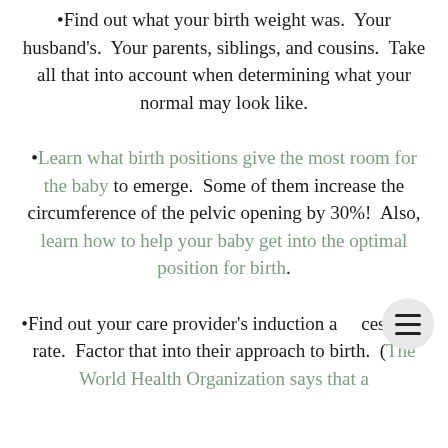•Find out what your birth weight was.  Your husband's.  Your parents, siblings, and cousins.  Take all that into account when determining what your normal may look like.
•Learn what birth positions give the most room for the baby to emerge.  Some of them increase the circumference of the pelvic opening by 30%!  Also, learn how to help your baby get into the optimal position for birth.
•Find out your care provider's induction and cesarean rate.  Factor that into their approach to birth.  (The World Health Organization says that a healthy cesarean rate is no more than 15%. Also, fifteen